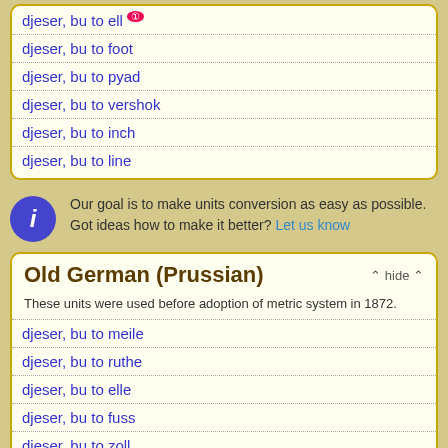djeser, bu to ell ①
djeser, bu to foot
djeser, bu to pyad
djeser, bu to vershok
djeser, bu to inch
djeser, bu to line
Our goal is to make units conversion as easy as possible. Got ideas how to make it better? Let us know
Old German (Prussian)
These units were used before adoption of metric system in 1872.
djeser, bu to meile
djeser, bu to ruthe
djeser, bu to elle
djeser, bu to fuss
djeser, bu to zoll